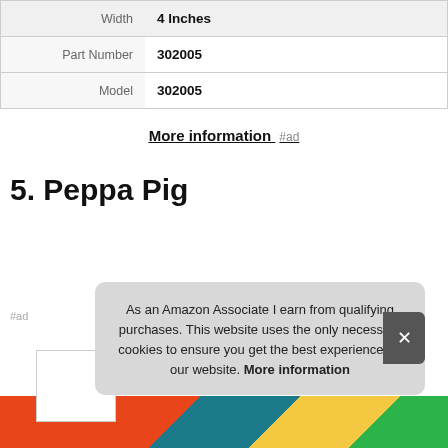| Width | 4 Inches |
| Part Number | 302005 |
| Model | 302005 |
More information #ad
5. Peppa Pig
#ad
As an Amazon Associate I earn from qualifying purchases. This website uses the only necessary cookies to ensure you get the best experience on our website. More information
[Figure (photo): Product image strip at the bottom of the page]